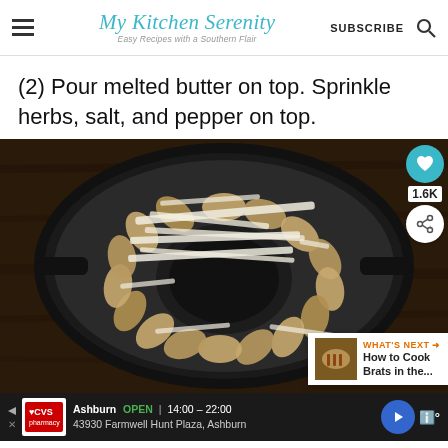My Kitchen Serenity — Easy Recipes with a Southern Flair | SUBSCRIBE
(2) Pour melted butter on top. Sprinkle herbs, salt, and pepper on top.
[Figure (photo): Overhead view of a cast iron skillet filled with thinly sliced potatoes arranged in a circular pattern and topped with shredded cheese, sitting on a dark wooden surface. A social sidebar shows a heart button with 1.6K likes and a share button. A 'What's Next' panel shows 'How to Cook Brats in the...']
Ashburn OPEN | 14:00–22:00 43930 Farmwell Hunt Plaza, Ashburn